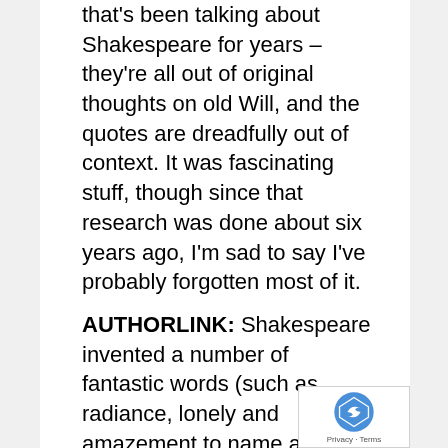that's been talking about Shakespeare for years – they're all out of original thoughts on old Will, and the quotes are dreadfully out of context. It was fascinating stuff, though since that research was done about six years ago, I'm sad to say I've probably forgotten most of it.
AUTHORLINK: Shakespeare invented a number of fantastic words (such as radiance, lonely and amazement to name a few). Have you followed his lead and created any words/phrases that are strewn through THE WEIRD